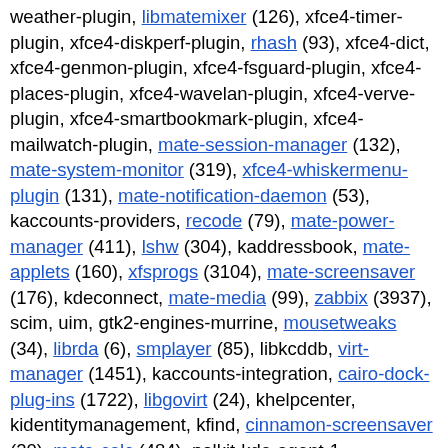weather-plugin, libmatemixer (126), xfce4-timer-plugin, xfce4-diskperf-plugin, rhash (93), xfce4-dict, xfce4-genmon-plugin, xfce4-fsguard-plugin, xfce4-places-plugin, xfce4-wavelan-plugin, xfce4-verve-plugin, xfce4-smartbookmark-plugin, xfce4-mailwatch-plugin, mate-session-manager (132), mate-system-monitor (319), xfce4-whiskermenu-plugin (131), mate-notification-daemon (53), kaccounts-providers, recode (79), mate-power-manager (411), lshw (304), kaddressbook, mate-applets (160), xfsprogs (3104), mate-screensaver (176), kdeconnect, mate-media (99), zabbix (3937), scim, uim, gtk2-engines-murrine, mousetweaks (34), librda (6), smplayer (85), libkcddb, virt-manager (1451), kaccounts-integration, cairo-dock-plug-ins (1722), libgovirt (24), khelpcenter, kidentitymanagement, kfind, cinnamon-screensaver (20), mate-calc (484), polkit-kde-agent-1, kwalletmanager, cinnamon-session (68), gwenview, deluge, filezilla (1889), kamera, ark, kmail, kmenuedit, libconfuse, ksshaskpass, kcalc, gnome-bluetooth3, milou, plasma-integration, kscreen, cinnamon (1695), xine-lib-1.2 (1193), kinfocenter, cockpit,